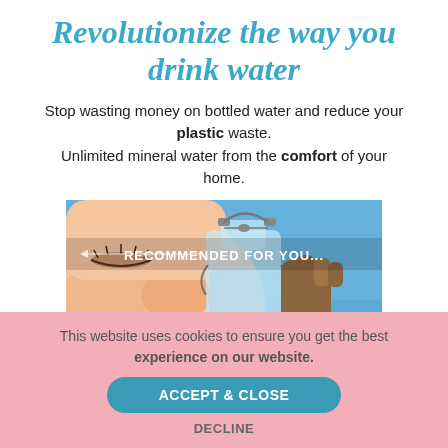Revolutionize the way you drink water
Stop wasting money on bottled water and reduce your plastic waste. Unlimited mineral water from the comfort of your home.
[Figure (photo): Person drinking water from a glass bottle with a swing-top cap against a blue sky background, with text overlay 'RECOMMENDED FOR YOU...']
This website uses cookies to ensure you get the best experience on our website.
ACCEPT & CLOSE
DECLINE